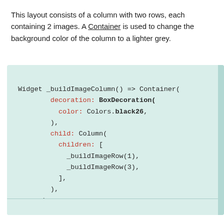This layout consists of a column with two rows, each containing 2 images. A Container is used to change the background color of the column to a lighter grey.
[Figure (screenshot): Code block on a light teal/green background showing a Flutter/Dart _buildImageColumn() function returning a Container with BoxDecoration color Colors.black26 and a child Column with children _buildImageRow(1) and _buildImageRow(3).]